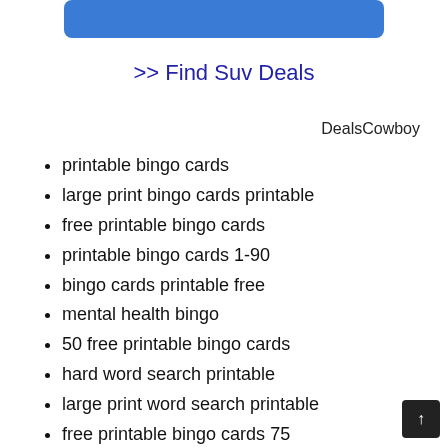[Figure (other): Blue rounded rectangle button at the top of the page]
>> Find Suv Deals
DealsCowboy
printable bingo cards
large print bingo cards printable
free printable bingo cards
printable bingo cards 1-90
bingo cards printable free
mental health bingo
50 free printable bingo cards
hard word search printable
large print word search printable
free printable bingo cards 75